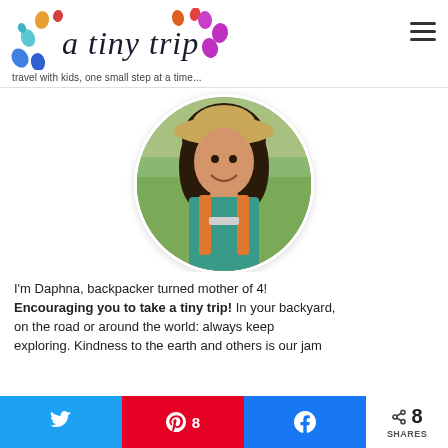[Figure (logo): A Tiny Trip blog logo with colorful footprints and italic script text]
travel with kids, one small step at a time...
[Figure (photo): Circular profile photo of a woman with curly dark hair wearing a teal shirt and orange backpack, smiling outdoors]
I'm Daphna, backpacker turned mother of 4! Encouraging you to take a tiny trip! In your backyard, on the road or around the world: always keep exploring. Kindness to the earth and others is our jam
8 SHARES (Twitter share button, Pinterest share button with 8, Facebook share button)